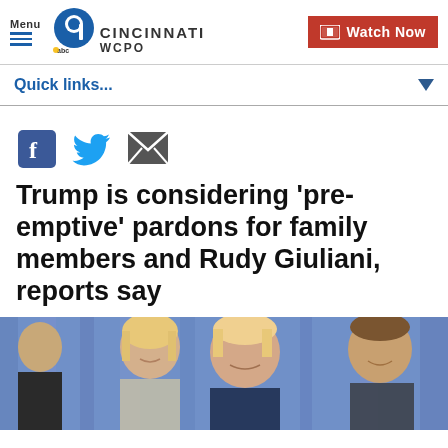Menu | 9 WCPO CINCINNATI | Watch Now
Quick links...
[Figure (other): Social share icons: Facebook, Twitter, Email]
Trump is considering 'pre-emptive' pardons for family members and Rudy Giuliani, reports say
[Figure (photo): Photo of Trump family members smiling in front of a blue curtain backdrop]